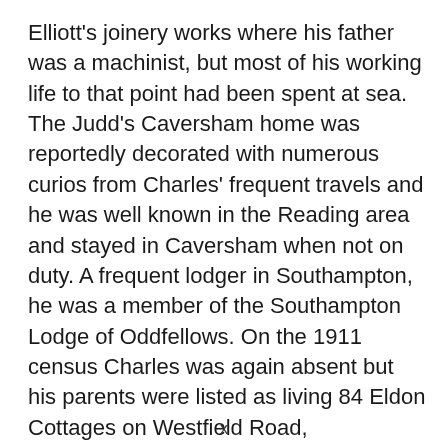Elliott's joinery works where his father was a machinist, but most of his working life to that point had been spent at sea. The Judd's Caversham home was reportedly decorated with numerous curios from Charles' frequent travels and he was well known in the Reading area and stayed in Caversham when not on duty. A frequent lodger in Southampton, he was a member of the Southampton Lodge of Oddfellows. On the 1911 census Charles was again absent but his parents were listed as living 84 Eldon Cottages on Westfield Road, Caversham.
x